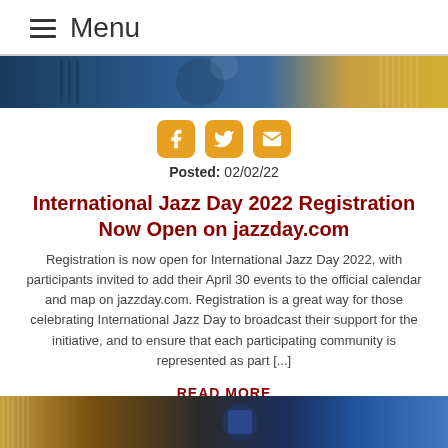≡ Menu
[Figure (photo): Top hero image showing a musician or jazz scene with blue and gold tones]
[Figure (infographic): Social share icons: Facebook, Twitter, Email — orange/amber rounded square buttons]
Posted: 02/02/22
International Jazz Day 2022 Registration Now Open on jazzday.com
Registration is now open for International Jazz Day 2022, with participants invited to add their April 30 events to the official calendar and map on jazzday.com. Registration is a great way for those celebrating International Jazz Day to broadcast their support for the initiative, and to ensure that each participating community is represented as part [...]
READ MORE
[Figure (photo): Bottom hero image showing jazz instruments or venue with warm tones]